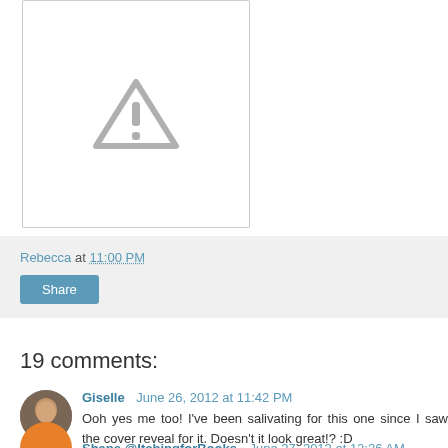[Figure (illustration): Image placeholder with a grey warning triangle/exclamation mark icon on white background with grey border]
Rebecca at 11:00 PM
Share
19 comments:
[Figure (photo): Small circular avatar photo of Giselle]
Giselle June 26, 2012 at 11:42 PM
Ooh yes me too! I've been salivating for this one since I saw the cover reveal for it. Doesn't it look great!? :D
Reply
[Figure (photo): Small circular avatar of Shane @ItchingforBooks, orange/brown colour]
Shane @ItchingforBooks June 27, 2012 at 12:26 AM